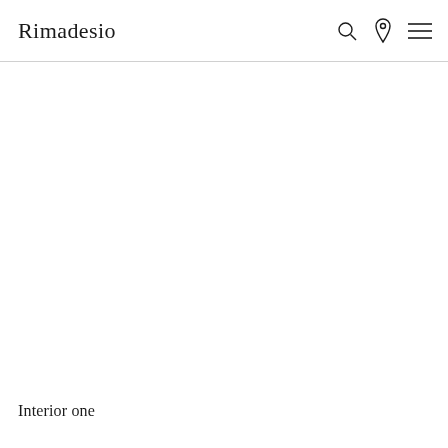Rimadesio
[Figure (illustration): Large blank white content area, likely placeholder for a product or interior image]
Interior one